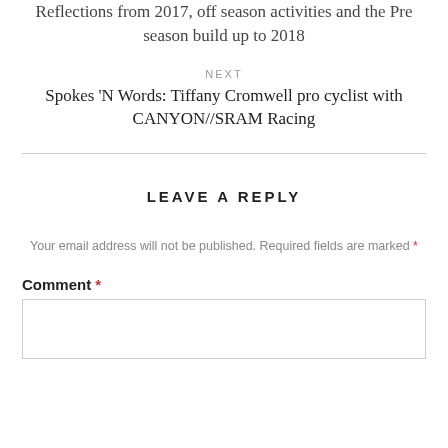Reflections from 2017, off season activities and the Pre season build up to 2018
NEXT
Spokes 'N Words: Tiffany Cromwell pro cyclist with CANYON//SRAM Racing
LEAVE A REPLY
Your email address will not be published. Required fields are marked *
Comment *